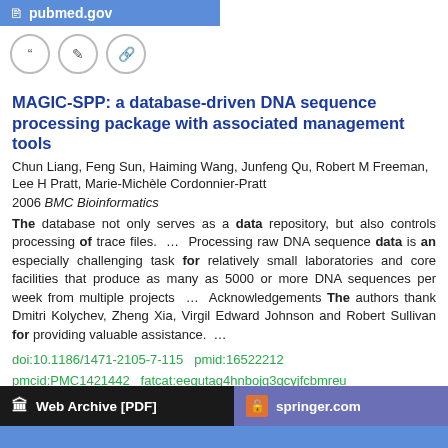pubmed.gov
MAGIC-SPP: a database-driven DNA sequence processing package with associated management tools
Chun Liang, Feng Sun, Haiming Wang, Junfeng Qu, Robert M Freeman, Lee H Pratt, Marie-Michèle Cordonnier-Pratt
2006 BMC Bioinformatics
The database not only serves as a data repository, but also controls processing of trace files. ... Processing raw DNA sequence data is an especially challenging task for relatively small laboratories and core facilities that produce as many as 5000 or more DNA sequences per week from multiple projects ... Acknowledgements The authors thank Dmitri Kolychev, Zheng Xia, Virgil Edward Johnson and Robert Sullivan for providing valuable assistance. ...
doi:10.1186/1471-2105-7-115  pmid:16522212
pmcid:PMC1421442  fatcat:eequtaq4hnbojg3qcyjfcbmreu
DOAJ
Web Archive [PDF]
springer.com